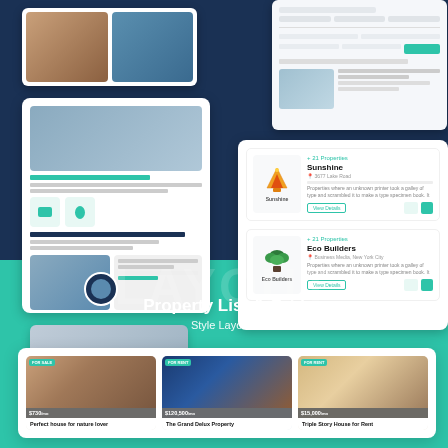[Figure (screenshot): Real estate website UI screenshots showing property listings, agent pages, and builder directory on dark navy background]
Property List & Grid
Style Layouts
[Figure (screenshot): Property listing cards at bottom showing Perfect house for nature lover, The Grand Delux Property, and Triple Story House for Rent]